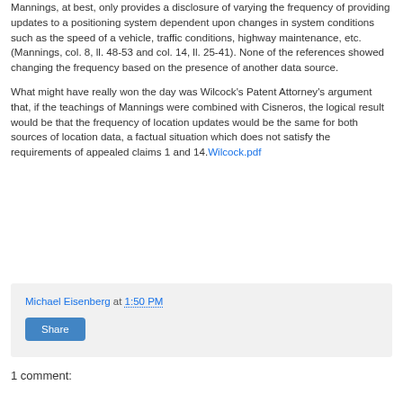Mannings, at best, only provides a disclosure of varying the frequency of providing updates to a positioning system dependent upon changes in system conditions such as the speed of a vehicle, traffic conditions, highway maintenance, etc. (Mannings, col. 8, ll. 48-53 and col. 14, ll. 25-41). None of the references showed changing the frequency based on the presence of another data source.
What might have really won the day was Wilcock's Patent Attorney's argument that, if the teachings of Mannings were combined with Cisneros, the logical result would be that the frequency of location updates would be the same for both sources of location data, a factual situation which does not satisfy the requirements of appealed claims 1 and 14.Wilcock.pdf
Michael Eisenberg at 1:50 PM
Share
1 comment: